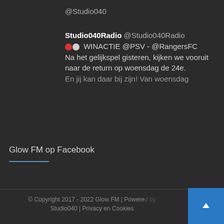@Studio040
Studio040Radio @Studio040Radio
🔴⚪ WINACTIE @PSV - @RangersFC
Na het gelijkspel gisteren, kijken we vooruit naar de return op woensdag de 24e.
En jij kan daar bij zijn! Van woensdag
Glow FM op Facebook
© Copyright 2017 - 2022 Glow FM | Powered by Studio040 | Privacy en Cookies